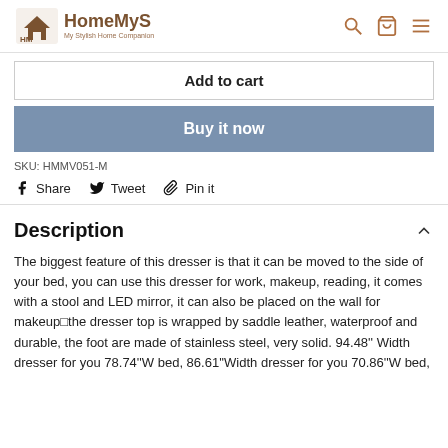HomeMyS My Stylish Home Companion
Add to cart
Buy it now
SKU: HMMV051-M
Share  Tweet  Pin it
Description
The biggest feature of this dresser is that it can be moved to the side of your bed, you can use this dresser for work, makeup, reading, it comes with a stool and LED mirror, it can also be placed on the wall for makeup□the dresser top is wrapped by saddle leather, waterproof and durable, the foot are made of stainless steel, very solid. 94.48'' Width dresser for you 78.74''W bed, 86.61''Width dresser for you 70.86''W bed,